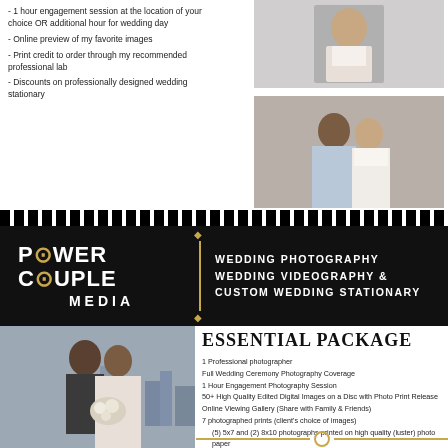- 1 hour engagement session at the location of your choice OR additional hour for wedding day
- Online preview of my favorite images
- Print credit to order through my recommended professional lab
- Discounts on professionally designed wedding stationary
[Figure (photo): Bride and groom photo, formal wear, light background]
[Figure (photo): African American bride and groom, groom in light suit with blue bow tie, bride in white strapless gown, outdoors near stone building]
[Figure (logo): Power Couple Media logo, white text on black background with gold accents]
WEDDING PHOTOGRAPHY WEDDING VIDEOGRAPHY & CUSTOM WEDDING STATIONARY
[Figure (photo): African American couple, man in dark suit kissing woman with short hair holding white bouquet, city skyline in background]
ESSENTIAL PACKAGE
1 Professional photographer
Full Wedding Ceremony Photography Coverage
1 Hour Engagement Photography Session
50+ High Quality Edited Digital Images on a Disc with Photo Print Release
Online Viewing Gallery (Share with Family & Friends)
7 photographed prints (client's choice of images)
(5) 5x7 and (2) 8x10 photographs printed on high quality (luster) photo paper
$1,800